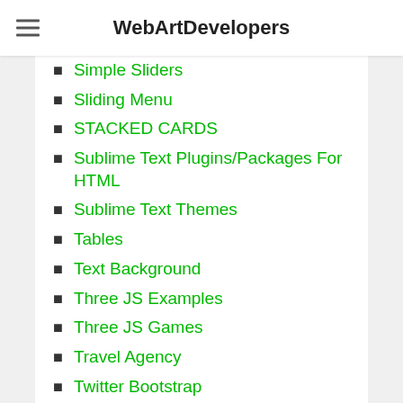WebArtDevelopers
Simple Sliders
Sliding Menu
STACKED CARDS
Sublime Text Plugins/Packages For HTML
Sublime Text Themes
Tables
Text Background
Three JS Examples
Three JS Games
Travel Agency
Twitter Bootstrap
Typing Text
Uncategorized
Under Construction Template